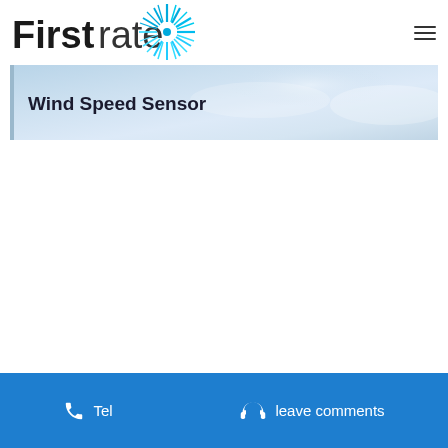[Figure (logo): Firstrate logo with black bold text 'First' and thinner 'rate', accompanied by a cyan/blue starburst/spiky circular graphic to the right]
[Figure (photo): Banner image with light blue sky background and bold text 'Wind Speed Sensor' on the left side]
Tel   leave comments